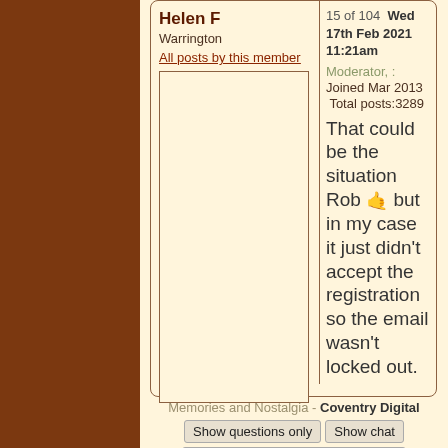Helen F
Warrington
All posts by this member
15 of 104  Wed 17th Feb 2021 11:21am
Moderator, :
Joined Mar 2013
Total posts:3289
That could be the situation Rob 🤙 but in my case it just didn't accept the registration so the email wasn't locked out.
Memories and Nostalgia - Coventry Digital
Show questions only
Show chat
Add 'Coventry Digital' to favourites
You need to be signed in to respond to this topic